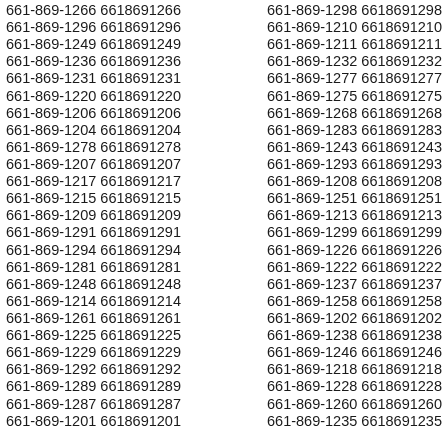661-869-1266 6618691266 661-869-1298 6618691298 661-869-1296 6618691296 661-869-1210 6618691210 661-869-1249 6618691249 661-869-1211 6618691211 661-869-1236 6618691236 661-869-1232 6618691232 661-869-1231 6618691231 661-869-1277 6618691277 661-869-1220 6618691220 661-869-1275 6618691275 661-869-1206 6618691206 661-869-1268 6618691268 661-869-1204 6618691204 661-869-1283 6618691283 661-869-1278 6618691278 661-869-1243 6618691243 661-869-1207 6618691207 661-869-1293 6618691293 661-869-1217 6618691217 661-869-1208 6618691208 661-869-1215 6618691215 661-869-1251 6618691251 661-869-1209 6618691209 661-869-1213 6618691213 661-869-1291 6618691291 661-869-1299 6618691299 661-869-1294 6618691294 661-869-1226 6618691226 661-869-1281 6618691281 661-869-1222 6618691222 661-869-1248 6618691248 661-869-1237 6618691237 661-869-1214 6618691214 661-869-1258 6618691258 661-869-1261 6618691261 661-869-1202 6618691202 661-869-1225 6618691225 661-869-1238 6618691238 661-869-1229 6618691229 661-869-1246 6618691246 661-869-1292 6618691292 661-869-1218 6618691218 661-869-1289 6618691289 661-869-1228 6618691228 661-869-1287 6618691287 661-869-1260 6618691260 661-869-1201 6618691201 661-869-1235 6618691235